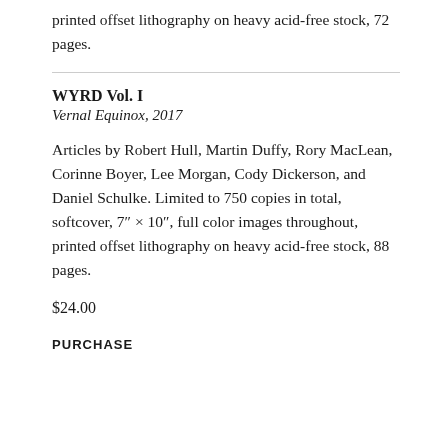printed offset lithography on heavy acid-free stock, 72 pages.
WYRD Vol. I
Vernal Equinox, 2017
Articles by Robert Hull, Martin Duffy, Rory MacLean, Corinne Boyer, Lee Morgan, Cody Dickerson, and Daniel Schulke. Limited to 750 copies in total, softcover, 7″ × 10″, full color images throughout, printed offset lithography on heavy acid-free stock, 88 pages.
$24.00
PURCHASE